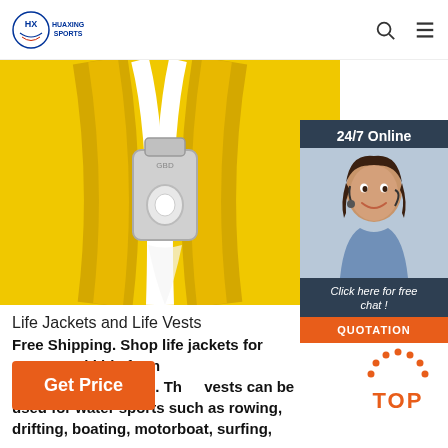HUAXING SPORTS
[Figure (photo): Close-up photo of a yellow zipper, partially unzipped, showing white zipper pull against bright yellow fabric]
[Figure (photo): 24/7 Online chat widget showing a smiling woman with headset and a 'Click here for free chat!' message with a QUOTATION button]
Life Jackets and Life Vests
Free Shipping. Shop life jackets for men, women and kids from Buy4Outdoors.COM. These life vests can be used for water sports such as rowing, drifting, boating, motorboat, surfing,
Get Price
[Figure (infographic): TOP button with dotted arch above the word TOP in orange]